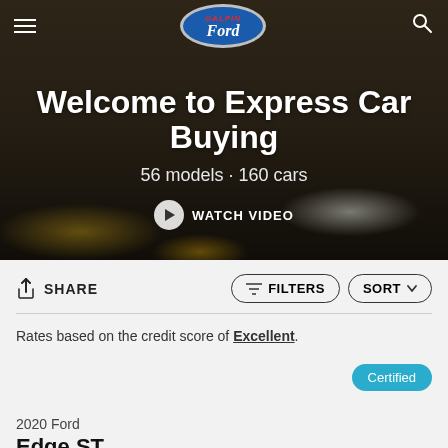[Figure (screenshot): Galpin Ford dealership website hero image with vintage Ford cars in background]
Welcome to Express Car Buying
56 models · 160 cars
WATCH VIDEO
SHARE
FILTERS
SORT
Rates based on the credit score of Excellent.
Certified
2020 Ford
Edge ST